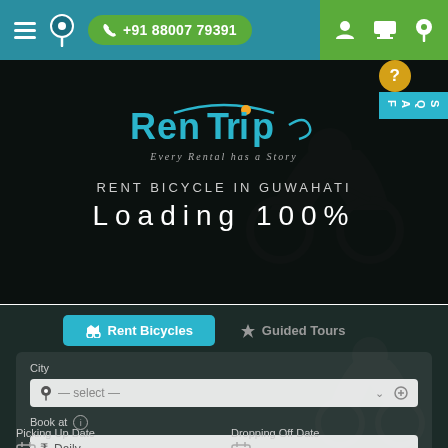+91 88007 79391
[Figure (logo): RenTrip logo with tagline 'Every Rental has a Story']
RENT BICYCLE IN GUWAHATI
Loading 100%
Rent Bicycles | Guided Tours
City
— select —
Book at
Daily
Picking Up Date
Dropping Off Date
FAQS